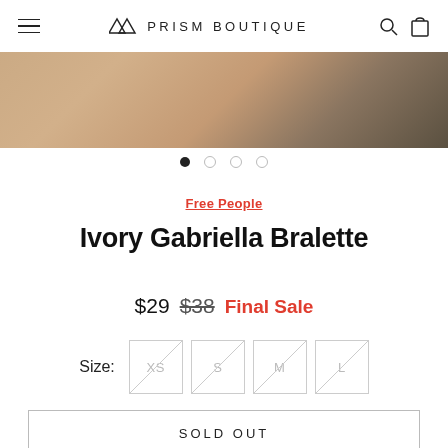PRISM BOUTIQUE
[Figure (photo): Close-up photo of a person's torso/midsection with warm skin tones and blurred dark background, showing the product being worn.]
• ○ ○ ○ (image carousel dots, first active)
Free People
Ivory Gabriella Bralette
$29  $38  Final Sale
Size: XS  S  M  L (all sizes shown as unavailable/crossed out)
SOLD OUT